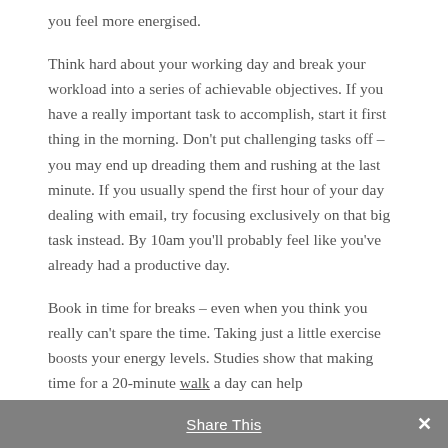you feel more energised.
Think hard about your working day and break your workload into a series of achievable objectives. If you have a really important task to accomplish, start it first thing in the morning. Don't put challenging tasks off – you may end up dreading them and rushing at the last minute. If you usually spend the first hour of your day dealing with email, try focusing exclusively on that big task instead. By 10am you'll probably feel like you've already had a productive day.
Book in time for breaks – even when you think you really can't spare the time. Taking just a little exercise boosts your energy levels. Studies show that making time for a 20-minute walk a day can help
Share This